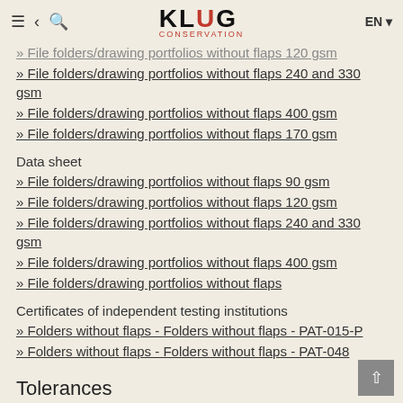KLUG CONSERVATION EN
» File folders/drawing portfolios without flaps 120 gsm
» File folders/drawing portfolios without flaps 240 and 330 gsm
» File folders/drawing portfolios without flaps 400 gsm
» File folders/drawing portfolios without flaps 170 gsm
Data sheet
» File folders/drawing portfolios without flaps 90 gsm
» File folders/drawing portfolios without flaps 120 gsm
» File folders/drawing portfolios without flaps 240 and 330 gsm
» File folders/drawing portfolios without flaps 400 gsm
» File folders/drawing portfolios without flaps
Certificates of independent testing institutions
» Folders without flaps - Folders without flaps - PAT-015-P
» Folders without flaps - Folders without flaps - PAT-048
Tolerances
The following production tolerances are to be taken into